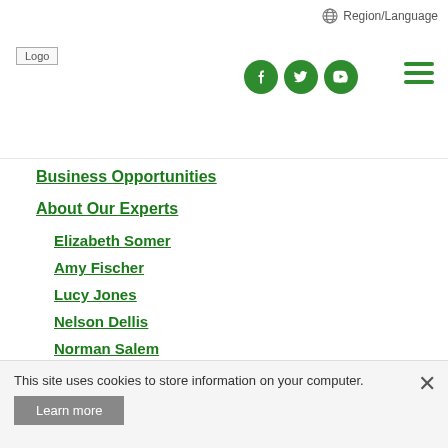Region/Language | Logo | Social icons | Menu
Business Opportunities
About Our Experts
Elizabeth Somer
Amy Fischer
Lucy Jones
Nelson Dellis
Norman Salem
Traci Schmidt (partial)
This site uses cookies to store information on your computer.
Learn more